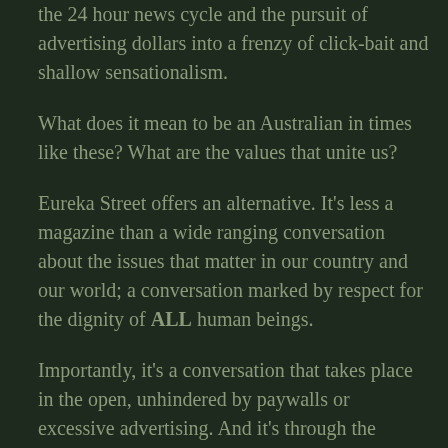the 24 hour news cycle and the pursuit of advertising dollars into a frenzy of click-bait and shallow sensationalism.
What does it mean to be an Australian in times like these? What are the values that unite us?
Eureka Street offers an alternative. It's less a magazine than a wide ranging conversation about the issues that matter in our country and our world; a conversation marked by respect for the dignity of ALL human beings.
Importantly, it's a conversation that takes place in the open, unhindered by paywalls or excessive advertising. And it's through the support of people like you that it is able to do so.